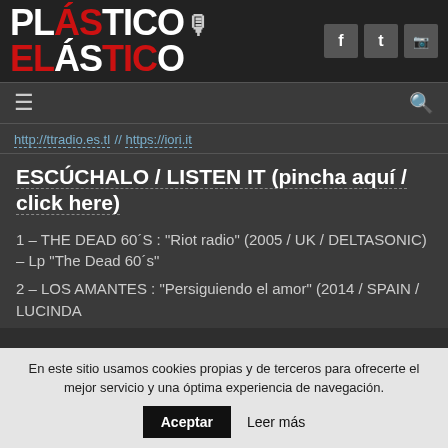Plástico Elástico
http://ttradio.es.tl // https://iori.it
ESCÚCHALO / LISTEN IT (pincha aquí / click here)
1 – THE DEAD 60´S : "Riot radio" (2005 / UK / DELTASONIC) – Lp "The Dead 60´s"
2 – LOS AMANTES : "Persiguiendo el amor" (2014 / SPAIN / LUCINDA
En este sitio usamos cookies propias y de terceros para ofrecerte el mejor servicio y una óptima experiencia de navegación.